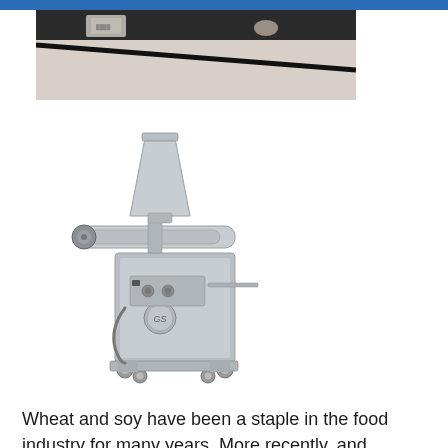[Figure (photo): Top portion of a photograph showing a dark countertop or table surface with some items on it, with a light background]
[Figure (photo): Industrial stainless steel food processing machine (GS brand) on wheels with a conical hopper on top and a horizontal cylinder/tube assembly, control panel with knobs, and a flat tray/platform at the side]
Wheat and soy have been a staple in the food industry for many years. More recently, and